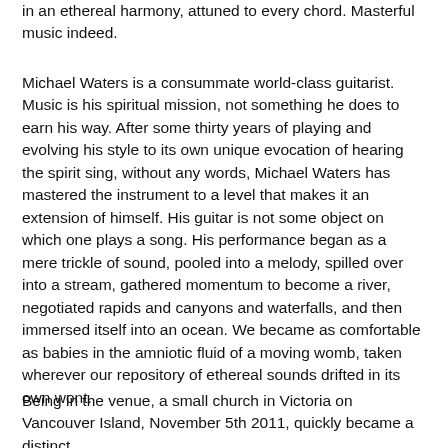in an ethereal harmony, attuned to every chord. Masterful music indeed.
Michael Waters is a consummate world-class guitarist. Music is his spiritual mission, not something he does to earn his way. After some thirty years of playing and evolving his style to its own unique evocation of hearing the spirit sing, without any words, Michael Waters has mastered the instrument to a level that makes it an extension of himself. His guitar is not some object on which one plays a song. His performance began as a mere trickle of sound, pooled into a melody, spilled over into a stream, gathered momentum to become a river, negotiated rapids and canyons and waterfalls, and then immersed itself into an ocean. We became as comfortable as babies in the amniotic fluid of a moving womb, taken wherever our repository of ethereal sounds drifted in its own wont.
Being in the venue, a small church in Victoria on Vancouver Island, November 5th 2011, quickly became a distinct